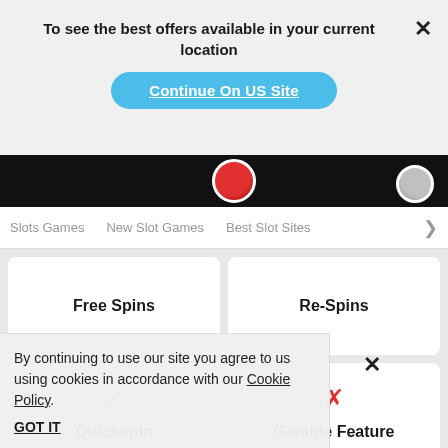To see the best offers available in your current location
Continue On US Site
Slots Games   New Slot Games   Best Slot Sites >
Free Spins
Re-Spins
✓ Quickspin
✗ Gamble Feature
By continuing to use our site you agree to us using cookies in accordance with our Cookie Policy.
GOT IT
Retriggering